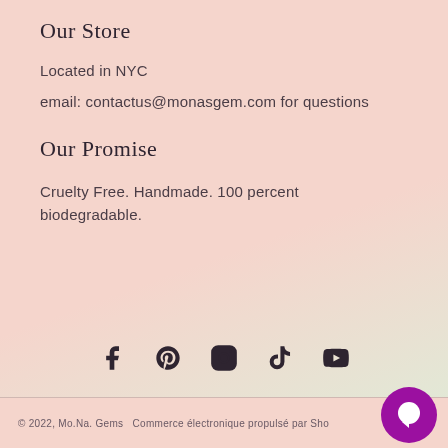Our Store
Located in NYC
email: contactus@monasgem.com for questions
Our Promise
Cruelty Free. Handmade. 100 percent biodegradable.
[Figure (infographic): Row of social media icons: Facebook, Pinterest, Instagram, TikTok, YouTube]
© 2022, Mo.Na. Gems  Commerce électronique propulsé par Sho...